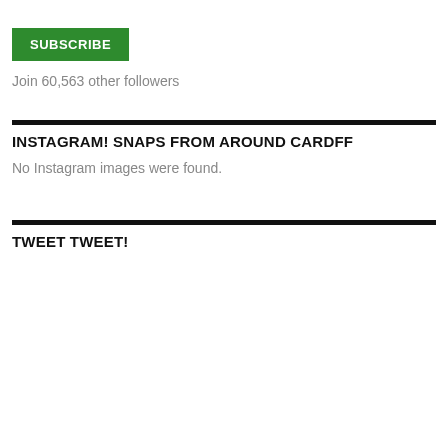SUBSCRIBE
Join 60,563 other followers
INSTAGRAM! SNAPS FROM AROUND CARDFF
No Instagram images were found.
TWEET TWEET!